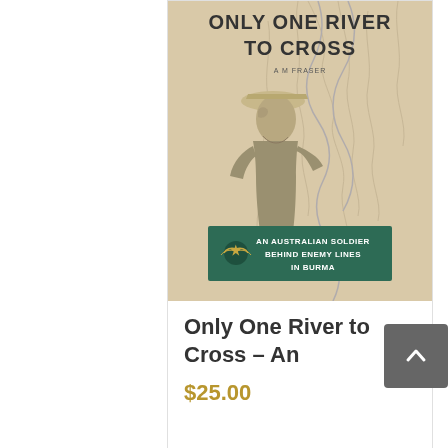[Figure (illustration): Book cover for 'Only One River to Cross' showing a soldier in a hat against a map background, with a teal banner at the bottom reading 'An Australian Soldier Behind Enemy Lines In Burma']
Only One River to Cross – An
$25.00